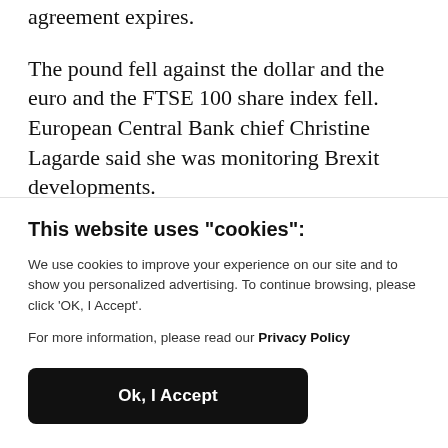agreement expires.
The pound fell against the dollar and the euro and the FTSE 100 share index fell. European Central Bank chief Christine Lagarde said she was monitoring Brexit developments.
This website uses "cookies":
We use cookies to improve your experience on our site and to show you personalized advertising. To continue browsing, please click ‘OK, I Accept’.
For more information, please read our Privacy Policy
Ok, I Accept